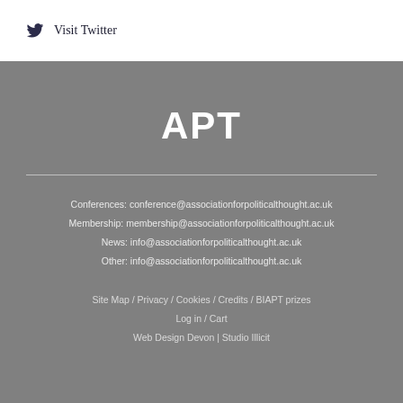Visit Twitter
APT
Conferences: conference@associationforpoliticalthought.ac.uk
Membership: membership@associationforpoliticalthought.ac.uk
News: info@associationforpoliticalthought.ac.uk
Other: info@associationforpoliticalthought.ac.uk
Site Map / Privacy / Cookies / Credits / BIAPT prizes
Log in / Cart
Web Design Devon | Studio Illicit